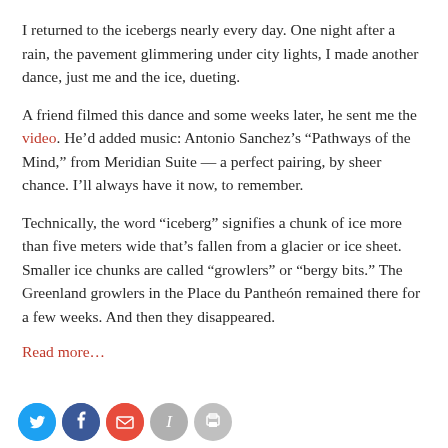I returned to the icebergs nearly every day. One night after a rain, the pavement glimmering under city lights, I made another dance, just me and the ice, dueting.
A friend filmed this dance and some weeks later, he sent me the video. He’d added music: Antonio Sanchez’s “Pathways of the Mind,” from Meridian Suite — a perfect pairing, by sheer chance. I’ll always have it now, to remember.
Technically, the word “iceberg” signifies a chunk of ice more than five meters wide that’s fallen from a glacier or ice sheet. Smaller ice chunks are called “growlers” or “bergy bits.” The Greenland growlers in the Place du Pantheón remained there for a few weeks. And then they disappeared.
Read more…
[Figure (other): Social sharing buttons: Twitter (blue), Facebook (dark blue), email (red), print (grey), more (grey)]